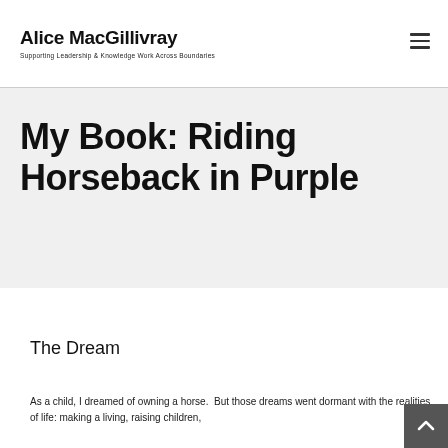Alice MacGillivray
Supporting Leadership & Knowledge Work Across Boundaries
My Book: Riding Horseback in Purple
The Dream
As a child, I dreamed of owning a horse.  But those dreams went dormant with the realities of life: making a living, raising children, finding to own it at the place…